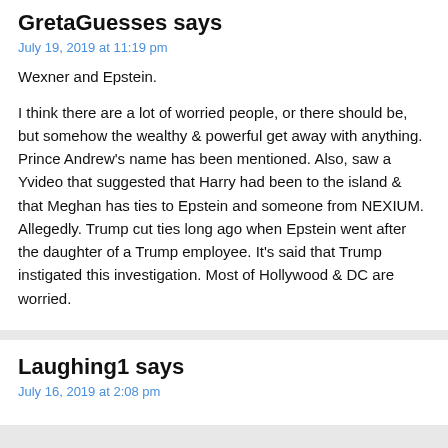GretaGuesses says
July 19, 2019 at 11:19 pm
Wexner and Epstein.

I think there are a lot of worried people, or there should be, but somehow the wealthy & powerful get away with anything. Prince Andrew's name has been mentioned. Also, saw a Yvideo that suggested that Harry had been to the island & that Meghan has ties to Epstein and someone from NEXIUM. Allegedly. Trump cut ties long ago when Epstein went after the daughter of a Trump employee. It's said that Trump instigated this investigation. Most of Hollywood & DC are worried.
Laughing1 says
July 16, 2019 at 2:08 pm